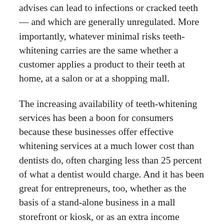advises can lead to infections or cracked teeth — and which are generally unregulated. More importantly, whatever minimal risks teeth-whitening carries are the same whether a customer applies a product to their teeth at home, at a salon or at a shopping mall.
The increasing availability of teeth-whitening services has been a boon for consumers because these businesses offer effective whitening services at a much lower cost than dentists do, often charging less than 25 percent of what a dentist would charge. And it has been great for entrepreneurs, too, whether as the basis of a stand-alone business in a mall storefront or kiosk, or as an extra income stream for the owners of spas and salons.
Evolution of a Cartel in the Constitution State
The increasing...